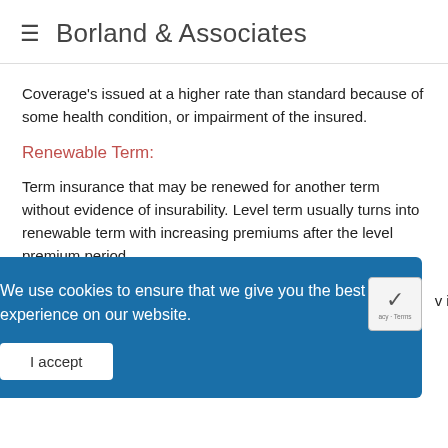≡  Borland & Associates
Coverage's issued at a higher rate than standard because of some health condition, or impairment of the insured.
Renewable Term:
Term insurance that may be renewed for another term without evidence of insurability. Level term usually turns into renewable term with increasing premiums after the level premium period.
We use cookies to ensure that we give you the best experience on our website.
The beneficiary in a life insurance policy in which the